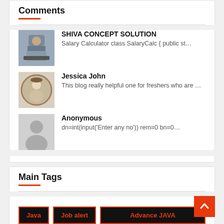Comments
SHIVA CONCEPT SOLUTION – Salary Calculator class SalaryCalc { public st…
Jessica John – This blog really helpful one for freshers who are …
Anonymous – dn=int(input('Enter any no')) rem=0 bn=0…
Main Tags
Java
Job alert
Advance JAVA